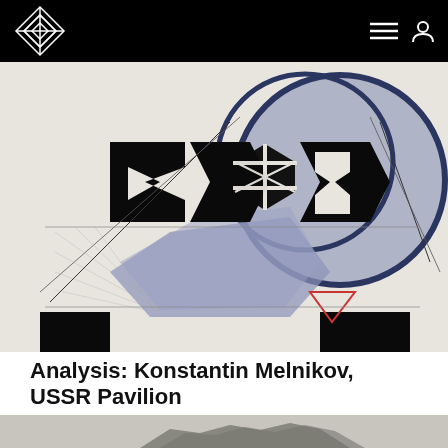[Figure (illustration): Architectural drawing/rendering of the USSR Pavilion by Konstantin Melnikov — abstract constructivist composition with bold black geometric letterforms, blue-grey spherical and angular forms, diagonal lines, and a cream/off-white background.]
Analysis: Konstantin Melnikov, USSR Pavilion
[Figure (photo): Black and white photograph of an architectural model or structure, partially visible at the bottom of the page.]